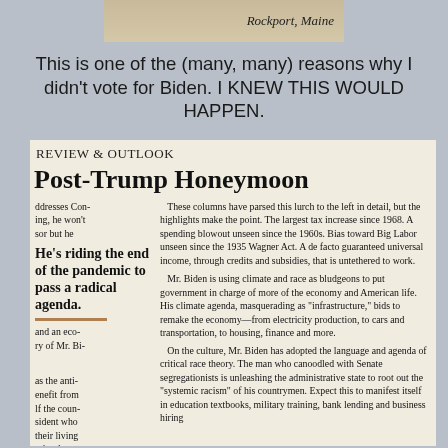[Figure (photo): Partial image of a document or sign with text 'Rockport, Maine' visible in italic font]
This is one of the (many, many) reasons why I didn't vote for Biden. I KNEW THIS WOULD HAPPEN.
[Figure (photo): Clipped newspaper article showing 'REVIEW & OUTLOOK' section header, headline 'Post-Trump Honeymoon', pullquote 'He's riding the end of the pandemic to pass a radical agenda.', and article text discussing Biden's policies on taxes, spending, Big Labor, climate, race, and the economy.]